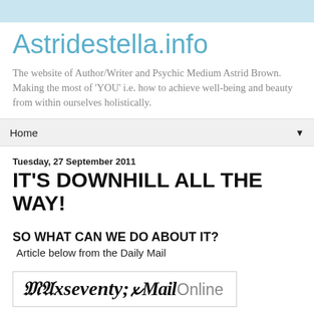Astridestella.info
The website of Author/Writer and Psychic Medium Astrid Brown. Making the most of 'YOU' i.e. how to achieve well-being and beauty from within ourselves holistically.
Home
Tuesday, 27 September 2011
IT'S DOWNHILL ALL THE WAY!
SO WHAT CAN WE DO ABOUT IT?
Article below from the Daily Mail
[Figure (logo): Mail Online logo with blackletter 'Mail' and sans-serif 'Online']